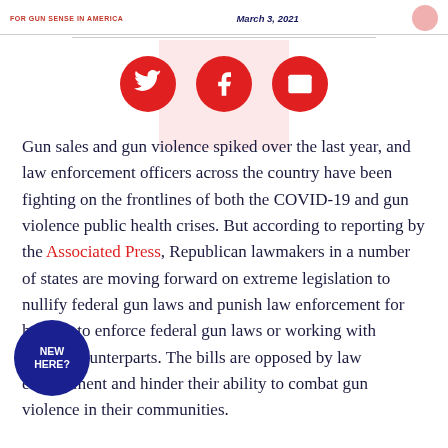FOR GUN SENSE IN AMERICA | March 3, 2021
[Figure (infographic): Three red circular social share buttons: Twitter bird icon, Facebook 'f' icon, and email envelope icon]
Gun sales and gun violence spiked over the last year, and law enforcement officers across the country have been fighting on the frontlines of both the COVID-19 and gun violence public health crises. But according to reporting by the Associated Press, Republican lawmakers in a number of states are moving forward on extreme legislation to nullify federal gun laws and punish law enforcement for helping to enforce federal gun laws or working with federal counterparts. The bills are opposed by law enforcement and hinder their ability to combat gun violence in their communities.
[Figure (infographic): Blue circular badge with white bold text reading NEW HERE?]